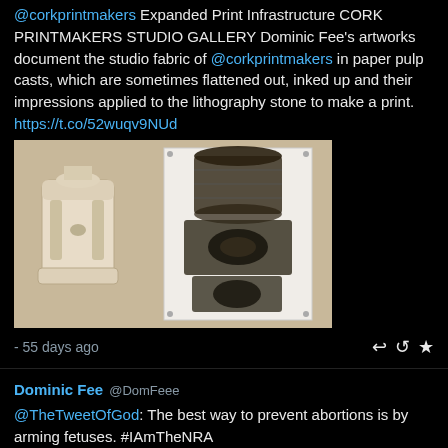@corkprintmakers Expanded Print Infrastructure CORK PRINTMAKERS STUDIO GALLERY Dominic Fee's artworks document the studio fabric of @corkprintmakers in paper pulp casts, which are sometimes flattened out, inked up and their impressions applied to the lithography stone to make a print.
https://t.co/52wuqv9NUd
[Figure (photo): Two artworks displayed on a gallery wall: a beige/cream coloured 3D paper pulp cast on the left resembling an industrial object, and a framed lithograph print on the right showing dark ink impressions of industrial forms on white paper.]
- 55 days ago
Dominic Fee @DomFeee
@TheTweetOfGod: The best way to prevent abortions is by arming fetuses. #IAmTheNRA
- 86 days ago